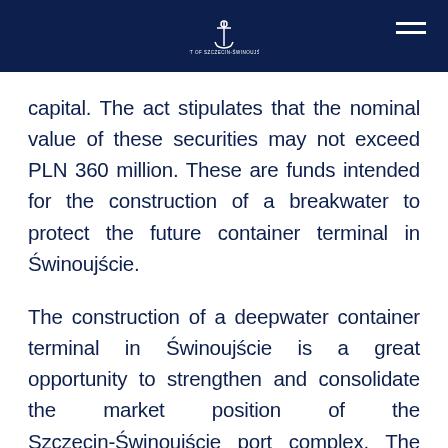Port of Szczecin-Świnoujście logo and navigation
capital. The act stipulates that the nominal value of these securities may not exceed PLN 360 million. These are funds intended for the construction of a breakwater to protect the future container terminal in Świnoujście.
The construction of a deepwater container terminal in Świnoujście is a great opportunity to strengthen and consolidate the market position of the Szczecin-Świnoujście port complex. The location of the terminal in Świnoujście will enable the service of a rich international